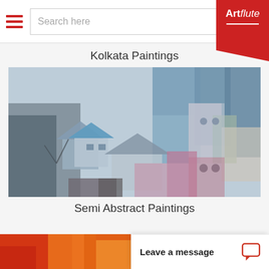Search here | Artflute
Kolkata Paintings
[Figure (photo): Abstract semi-realistic painting of an urban Kolkata streetscape with houses, buildings rendered in muted blues, greys, whites, pinks and browns with textured paint strokes]
Semi Abstract Paintings
[Figure (photo): Partial view of a warm-toned red and orange painting at bottom left]
Leave a message